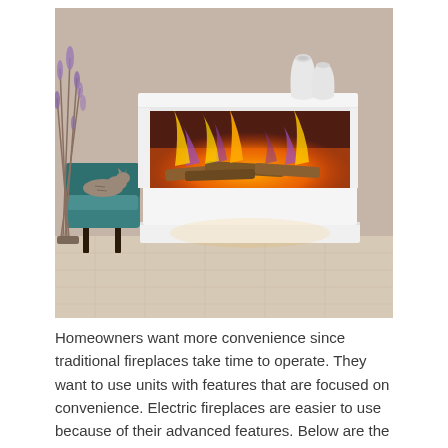[Figure (photo): A modern white electric fireplace with a wide rectangular firebox showing simulated flames and glowing logs. The fireplace is wall-mounted with a sleek white surround and mantel. Two white ceramic vases sit on top. A teal chair with a cat resting on it is visible to the left. The room has light wood-effect flooring and a warm beige wall.]
Homeowners want more convenience since traditional fireplaces take time to operate. They want to use units with features that are focused on convenience. Electric fireplaces are easier to use because of their advanced features. Below are the most useful features of an electric